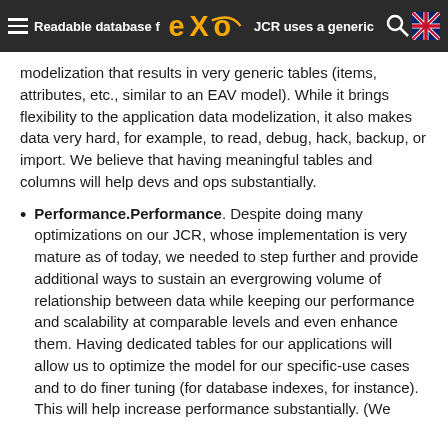Readable database for eXo — JCR uses a generic modelization that results in very generic tables (items, attributes, etc., similar to an EAV model). [header navigation]
modelization that results in very generic tables (items, attributes, etc., similar to an EAV model). While it brings flexibility to the application data modelization, it also makes data very hard, for example, to read, debug, hack, backup, or import. We believe that having meaningful tables and columns will help devs and ops substantially.
Performance.Performance. Despite doing many optimizations on our JCR, whose implementation is very mature as of today, we needed to step further and provide additional ways to sustain an evergrowing volume of relationship between data while keeping our performance and scalability at comparable levels and even enhance them. Having dedicated tables for our applications will allow us to optimize the model for our specific-use cases and to do finer tuning (for database indexes, for instance). This will help increase performance substantially. (We